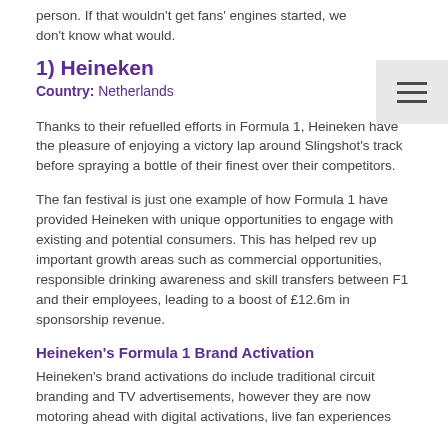person. If that wouldn't get fans' engines started, we don't know what would.
1) Heineken
Country: Netherlands
Thanks to their refuelled efforts in Formula 1, Heineken have the pleasure of enjoying a victory lap around Slingshot's track before spraying a bottle of their finest over their competitors.
The fan festival is just one example of how Formula 1 have provided Heineken with unique opportunities to engage with existing and potential consumers. This has helped rev up important growth areas such as commercial opportunities, responsible drinking awareness and skill transfers between F1 and their employees, leading to a boost of £12.6m in sponsorship revenue.
Heineken's Formula 1 Brand Activation
Heineken's brand activations do include traditional circuit branding and TV advertisements, however they are now motoring ahead with digital activations, live fan experiences